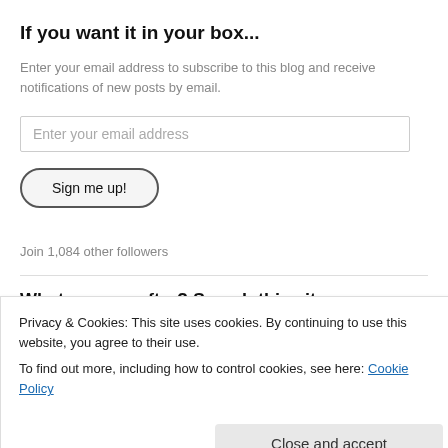If you want it in your box...
Enter your email address to subscribe to this blog and receive notifications of new posts by email.
Enter your email address
Sign me up!
Join 1,084 other followers
What are you after? Search this site
Privacy & Cookies: This site uses cookies. By continuing to use this website, you agree to their use.
To find out more, including how to control cookies, see here: Cookie Policy
Close and accept